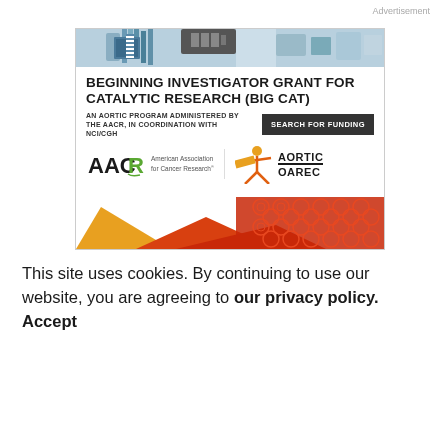Advertisement
[Figure (illustration): Advertisement banner for Beginning Investigator Grant for Catalytic Research (BIG CAT), an AORTIC program administered by the AACR, in coordination with NCI/CGH. Features AACR and AORTIC logos, a 'Search for Funding' button, and decorative geometric shapes at the bottom.]
This site uses cookies. By continuing to use our website, you are agreeing to our privacy policy. Accept